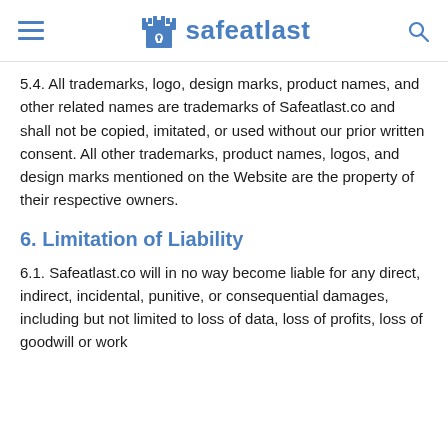safeatlast
5.4. All trademarks, logo, design marks, product names, and other related names are trademarks of Safeatlast.co and shall not be copied, imitated, or used without our prior written consent. All other trademarks, product names, logos, and design marks mentioned on the Website are the property of their respective owners.
6. Limitation of Liability
6.1. Safeatlast.co will in no way become liable for any direct, indirect, incidental, punitive, or consequential damages, including but not limited to loss of data, loss of profits, loss of goodwill or work